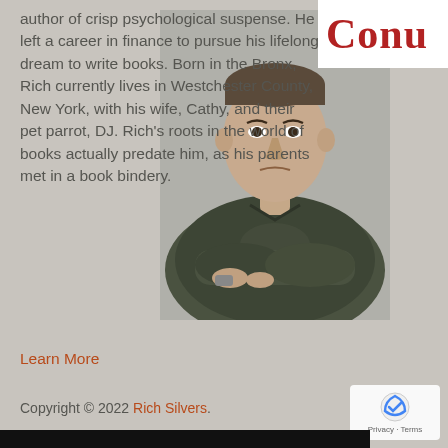[Figure (photo): Author photo of Rich Silvers, a middle-aged man in a camouflage shirt, arms crossed, leaning forward, against a light grey background.]
[Figure (logo): Partial red serif logo text reading 'CONU' (truncated) on white background, likely 'Conundrum' or similar.]
author of crisp psychological suspense. He left a career in finance to pursue his lifelong dream to write books. Born in the Bronx, Rich currently lives in Westchester County, New York, with his wife, Cathy, and their pet parrot, DJ. Rich's roots in the world of books actually predate him, as his parents met in a book bindery.
Learn More
Copyright © 2022 Rich Silvers.